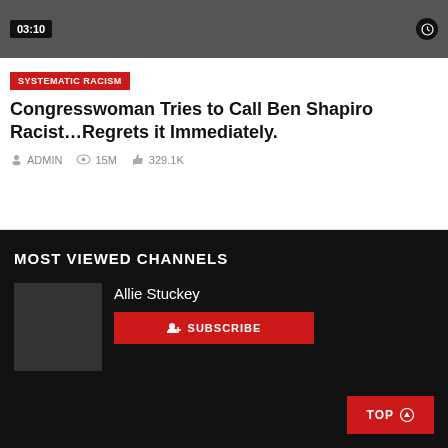[Figure (screenshot): Video thumbnail showing a protest scene with a person holding an 'MR. SHAPIRO The Daily Wire' sign, with a timestamp badge '03:10' and a clock icon overlay]
SYSTEMATIC RACISM
Congresswoman Tries to Call Ben Shapiro Racist…Regrets it Immediately.
ADMIN  15M  329.1K
MOST VIEWED CHANNELS
[Figure (photo): Dark grey thumbnail image for Allie Stuckey channel]
Allie Stuckey
SUBSCRIBE
TOP